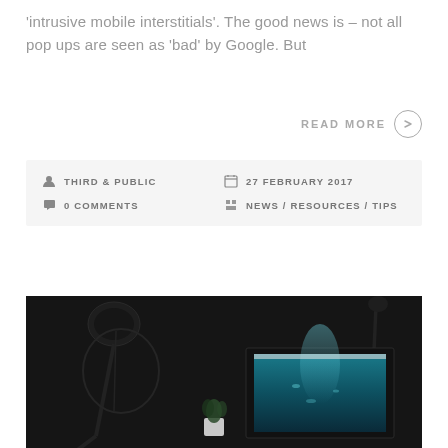'intrusive mobile interstitials'. The good news is – not all pop ups are seen as 'bad' by Google. But
READ MORE →
THIRD & PUBLIC | 27 FEBRUARY 2017 | 0 COMMENTS | NEWS / RESOURCES / TIPS
[Figure (photo): Dark room scene with a lamp stand on the left, a potted plant in the middle, and a monitor displaying an underwater/ocean scene on the right, all against a very dark background.]